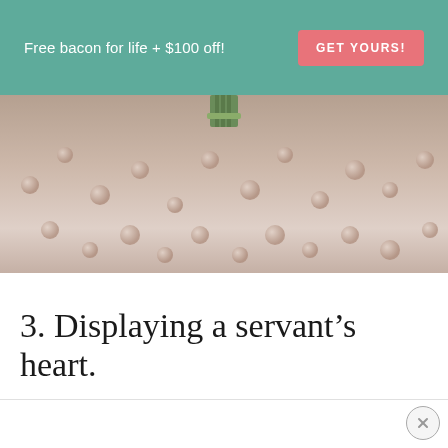Free bacon for life + $100 off! GET YOURS!
[Figure (photo): Close-up photo of a textured beige/pink fabric or surface with bumpy dot pattern, with a green zipper or plant element visible at the top center.]
3. Displaying a servant’s heart.